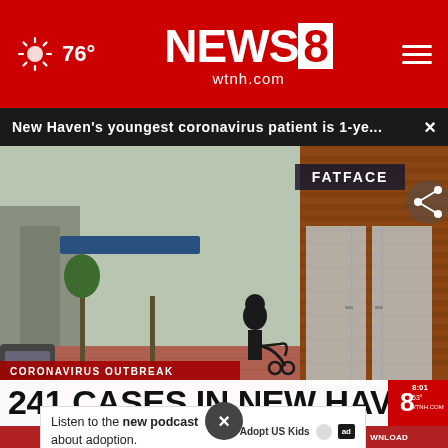76° | NEWS8 wtnh.com
New Haven's youngest coronavirus patient is 1-ye... ×
[Figure (screenshot): Street scene of New Haven with shops including FatFace, a person walking with a stroller on a brick sidewalk. Lower-third graphic shows: CORONAVIRUS OUTBREAK / 241 CASES IN NEW HAVEN with News 8 logo, 8:01, 53°, WTNH.COM]
CORONAVIRUS OUTBREAK
241 CASES IN NEW HAVEN
✎ REPORT A TYPO   ✎ SUBMIT A NEWS TIP   ✎ DOWNLOAD
Listen to the new podcast about adoption.